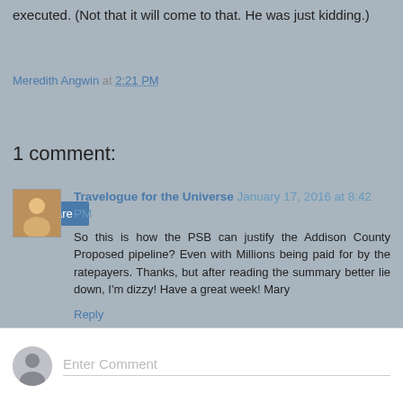executed. (Not that it will come to that. He was just kidding.)
Meredith Angwin at 2:21 PM
Share
1 comment:
Travelogue for the Universe January 17, 2016 at 8:42 PM
So this is how the PSB can justify the Addison County Proposed pipeline? Even with Millions being paid for by the ratepayers. Thanks, but after reading the summary better lie down, I'm dizzy! Have a great week! Mary
Reply
Enter Comment